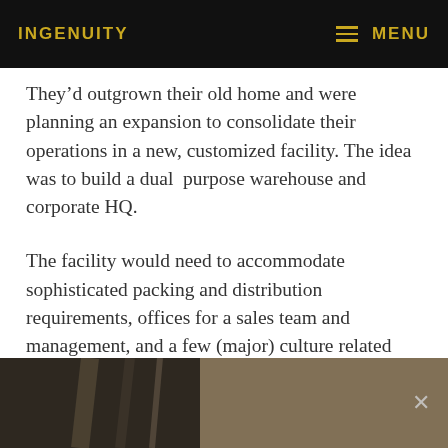INGENUITY    MENU
They’d outgrown their old home and were planning an expansion to consolidate their operations in a new, customized facility. The idea was to build a dual  purpose warehouse and corporate HQ.
The facility would need to accommodate sophisticated packing and distribution requirements, offices for a sales team and management, and a few (major) culture related twists.
[Figure (photo): Partial interior photo showing architectural elements, appears to be a building interior with metal or glass structural components, dark and earth-toned. An X close button is visible at the right.]